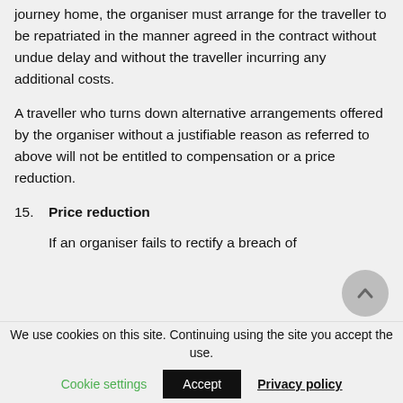journey home, the organiser must arrange for the traveller to be repatriated in the manner agreed in the contract without undue delay and without the traveller incurring any additional costs.
A traveller who turns down alternative arrangements offered by the organiser without a justifiable reason as referred to above will not be entitled to compensation or a price reduction.
15. Price reduction
If an organiser fails to rectify a breach of
We use cookies on this site. Continuing using the site you accept the use.